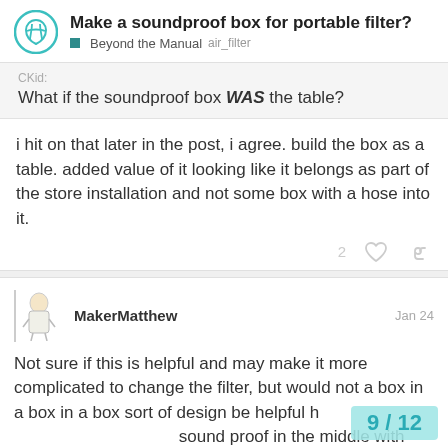Make a soundproof box for portable filter? Beyond the Manual air_filter
What if the soundproof box WAS the table?
i hit on that later in the post, i agree. build the box as a table. added value of it looking like it belongs as part of the store installation and not some box with a hose into it.
MakerMatthew Jan 24
Not sure if this is helpful and may make it more complicated to change the filter, but would not a box in a box in a box sort of design be helpful h sound proof in the middle with that ve